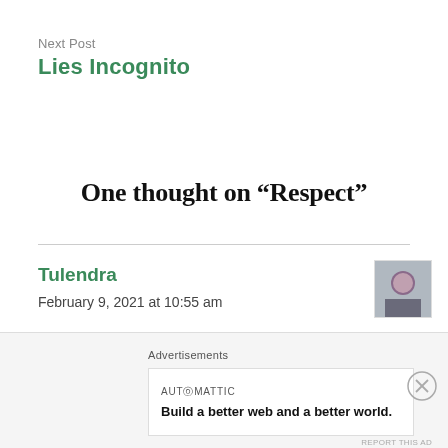Next Post
Lies Incognito
One thought on “Respect”
Tulendra
February 9, 2021 at 10:55 am
Nice to read but actually 🤔
Advertisements
AUTOMATTIC
Build a better web and a better world.
REPORT THIS AD